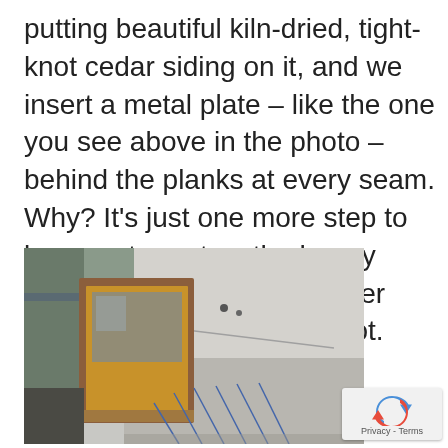putting beautiful kiln-dried, tight-knot cedar siding on it, and we insert a metal plate – like the one you see above in the photo – behind the planks at every seam. Why? It's just one more step to keep water out so the happy owner of this home will never have to deal with mold or rot.
[Figure (photo): Construction photo showing a window frame with wood trim on a house exterior wrapped in gray building wrap/housewrap, with diagonal pencil marks visible on the wrap.]